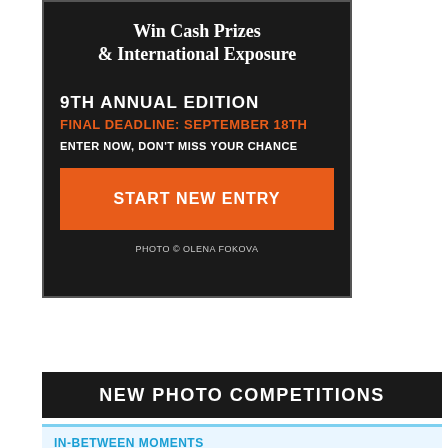[Figure (infographic): Dark-background advertisement banner for a photo competition. Text reads: Win Cash Prizes & International Exposure. 9TH ANNUAL EDITION. FINAL DEADLINE: SEPTEMBER 18TH. ENTER NOW, DON'T MISS YOUR CHANCE. Orange button: START NEW ENTRY. PHOTO © OLENA FOKOVA.]
NEW PHOTO COMPETITIONS
IN-BETWEEN MOMENTS